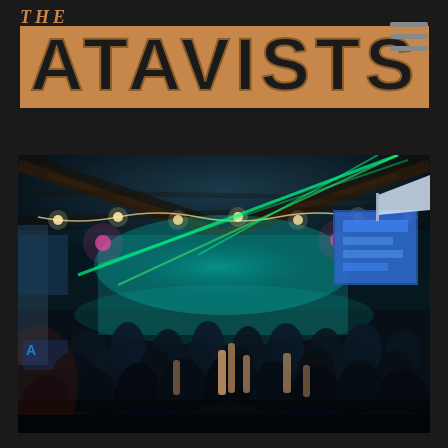THE ATAVISTS
[Figure (photo): Concert venue photo showing a large crowd at an indoor event space with string lights, stage lighting including green and blue beams, a projection screen on the right side, wooden beam ceiling visible, crowd with hands raised in foreground]